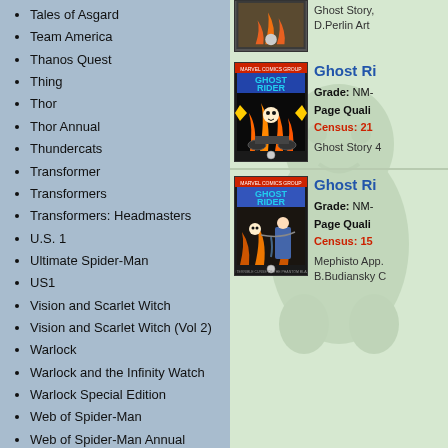Tales of Asgard
Team America
Thanos Quest
Thing
Thor
Thor Annual
Thundercats
Transformer
Transformers
Transformers: Headmasters
U.S. 1
Ultimate Spider-Man
US1
Vision and Scarlet Witch
Vision and Scarlet Witch (Vol 2)
Warlock
Warlock and the Infinity Watch
Warlock Special Edition
Web of Spider-Man
Web of Spider-Man Annual
Wedding of Dracula
West Coast Avengers
West Coast Avengers (Mini)
West Coast Avengers Annual
What If
Wolverine
Wolverine Limited Series
Wonder Man
Wonder Woman
X-Factor
[Figure (illustration): Ghost Rider comic book cover (top partial) with flames]
Ghost Story, D.Perlin Art
[Figure (illustration): Ghost Rider Marvel Comics Group cover - Ghost Rider on motorcycle with flames]
Ghost Ri... Grade: NM- Page Quali... Census: 21... Ghost Story 4...
[Figure (illustration): Ghost Rider Marvel Comics Group cover - Ghost Rider with female character]
Ghost Ri... Grade: NM- Page Quali... Census: 15... Mephisto App. B.Budiansky C...